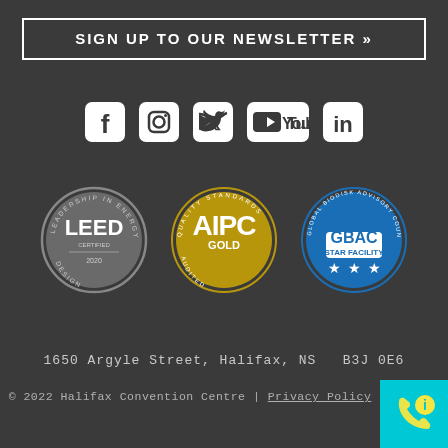SIGN UP TO OUR NEWSLETTER »
[Figure (logo): Social media icons: Facebook, Instagram, Twitter, YouTube, LinkedIn]
[Figure (logo): Three certification badges: LEED (silver), AIPC Gold Quality Standards Audited, GBAC Star Facility]
1650 Argyle Street, Halifax, NS  B3J 0E6
© 2022 Halifax Convention Centre | Privacy Policy
[Figure (logo): Cyan/teal box with phone and info icon in yellow]